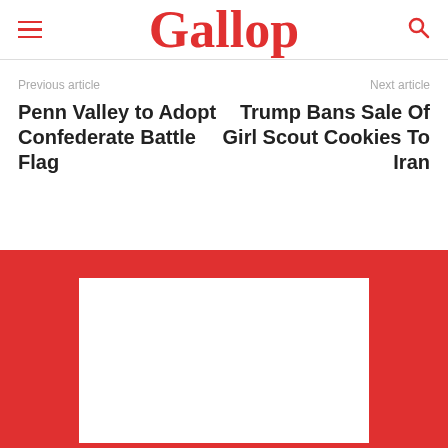Gallop
Previous article
Penn Valley to Adopt Confederate Battle Flag
Next article
Trump Bans Sale Of Girl Scout Cookies To Iran
[Figure (other): Red footer banner with white rectangle placeholder box]